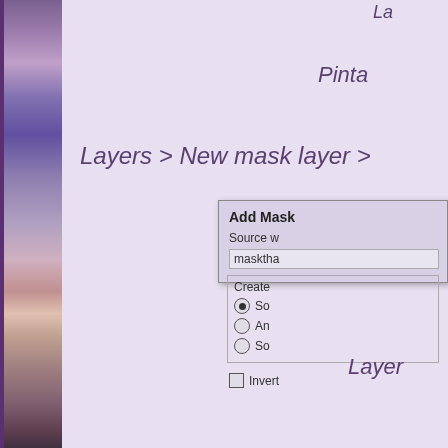[Figure (photo): Left vertical photo strip showing a person, partially visible, with purple/violet tones]
La
Pinta
Layers > New mask layer >
[Figure (screenshot): Add Mask dialog box with Source field showing 'masktha...', Create section with radio buttons (So, An, So), and Invert checkbox]
Layer